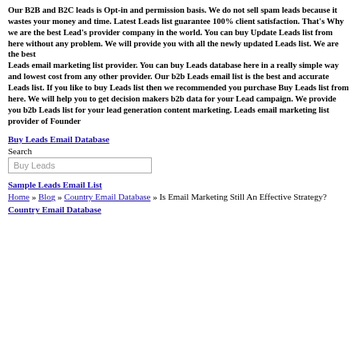Our B2B and B2C leads is Opt-in and permission basis. We do not sell spam leads because it wastes your money and time. Latest Leads list guarantee 100% client satisfaction. That's Why we are the best Lead's provider company in the world. You can buy Update Leads list from here without any problem. We will provide you with all the newly updated Leads list. We are the best Leads email marketing list provider. You can buy Leads database here in a really simple way and lowest cost from any other provider. Our b2b Leads email list is the best and accurate Leads list. If you like to buy Leads list then we recommended you purchase Buy Leads list from here. We will help you to get decision makers b2b data for your Lead campaign. We provide you b2b Leads list for your lead generation content marketing. Leads email marketing list provider of Founder
Buy Leads Email Database
Search
Buy Leads
Sample Leads Email List
Home » Blog » Country Email Database » Is Email Marketing Still An Effective Strategy?
Country Email Database